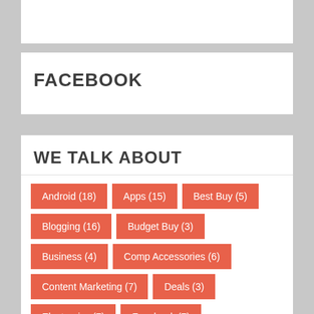FACEBOOK
WE TALK ABOUT
Android (18)
Apps (15)
Best Buy (5)
Blogging (16)
Budget Buy (3)
Business (4)
Comp Accessories (6)
Content Marketing (7)
Deals (3)
Electronics (7)
Facebook (7)